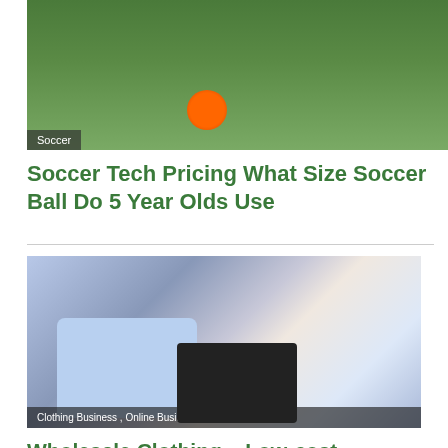[Figure (photo): A soccer player with a prosthetic leg kicking an orange soccer ball on green grass]
Soccer
Soccer Tech Pricing What Size Soccer Ball Do 5 Year Olds Use
[Figure (photo): Blue and white clothes hanging on hangers, a blue knit sweater, black shoes, and denim jeans on display]
Clothing Business , Online Business
Wholesale Clothing – Low-cost Exercise Clothing Sell Fast